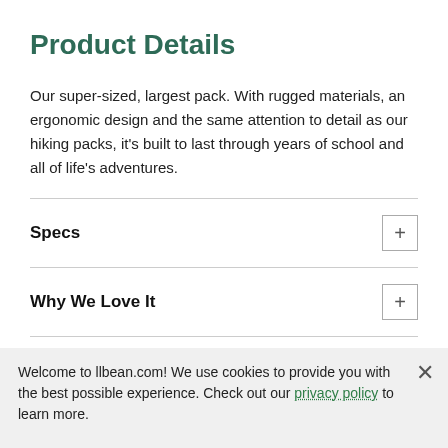Product Details
Our super-sized, largest pack. With rugged materials, an ergonomic design and the same attention to detail as our hiking packs, it's built to last through years of school and all of life's adventures.
Specs
Why We Love It
Fabric & Care
Welcome to llbean.com! We use cookies to provide you with the best possible experience. Check out our privacy policy to learn more.